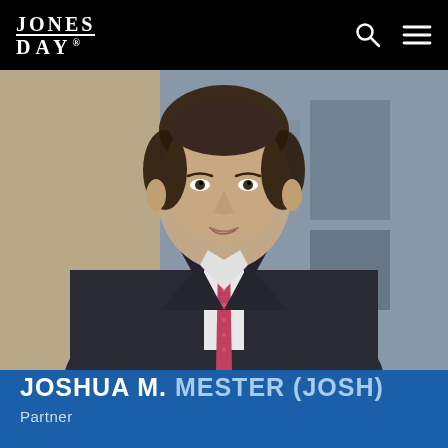Jones Day
[Figure (photo): Professional headshot of Joshua M. Mester (Josh), a man in a dark pinstripe suit with a pink tie and white dress shirt, photographed in a blurred office interior background.]
JOSHUA M. MESTER (JOSH)
Partner